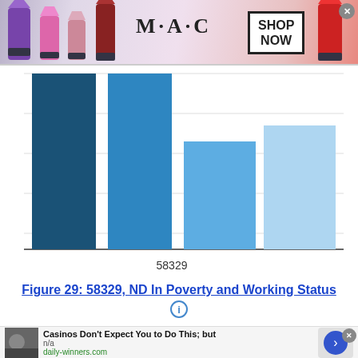[Figure (other): MAC cosmetics advertisement banner with lipsticks and SHOP NOW button]
[Figure (bar-chart): 58329, ND In Poverty and Working Status]
Figure 29: 58329, ND In Poverty and Working Status
[Figure (other): Advertisement: Casinos Don't Expect You to Do This; but — n/a — daily-winners.com]